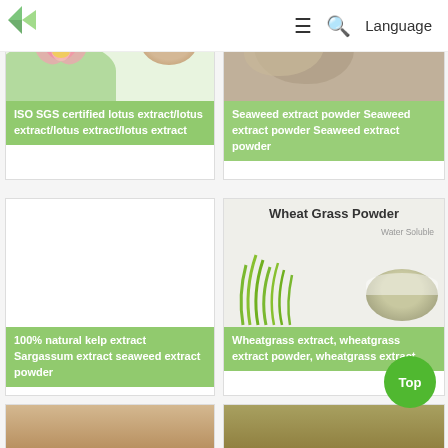≡  🔍  Language
[Figure (photo): Lotus flower photo with powder, ISO SGS certified lotus extract product card]
ISO SGS certified lotus extract/lotus extract/lotus extract/lotus extract
[Figure (photo): Seaweed extract powder product card top]
Seaweed extract powder Seaweed extract powder Seaweed extract powder
[Figure (photo): 100% natural kelp extract Sargassum extract seaweed extract powder product card - white/blank image area]
100% natural kelp extract Sargassum extract seaweed extract powder
[Figure (photo): Wheat Grass Powder product card with grass and powder bowl image, Water Soluble label]
Wheatgrass extract, wheatgrass extract powder, wheatgrass extract
[Figure (photo): Partial product card bottom-left, tan powder color]
[Figure (photo): Partial product card bottom-right, mixed green/tan color]